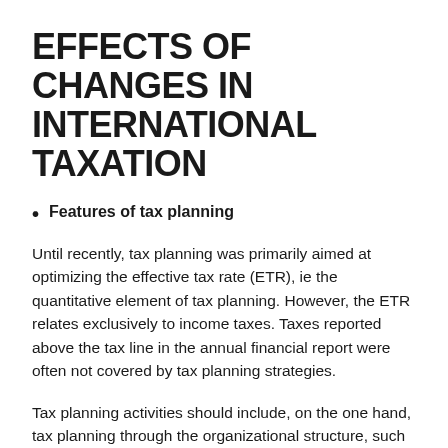EFFECTS OF CHANGES IN INTERNATIONAL TAXATION
Features of tax planning
Until recently, tax planning was primarily aimed at optimizing the effective tax rate (ETR), ie the quantitative element of tax planning. However, the ETR relates exclusively to income taxes. Taxes reported above the tax line in the annual financial report were often not covered by tax planning strategies.
Tax planning activities should include, on the one hand, tax planning through the organizational structure, such as decisions regarding the legal structure (subsidiary, branch, holding companies, etc.), the choice of jurisdiction and the relationships agreements between group companies mainly